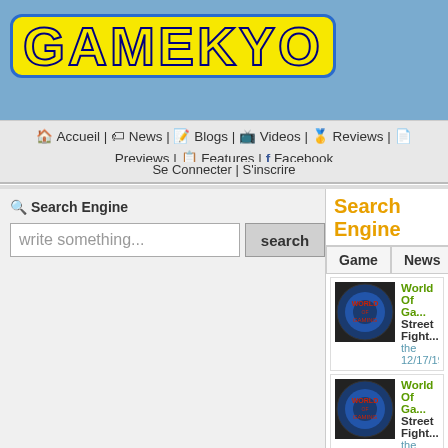[Figure (logo): Gamekyo logo: yellow bold text on blue rounded rectangle background]
🏠 Accueil | 🏷 News | 📝 Blogs | 📺 Videos | 🥇 Reviews | 📄 Previews | 📋 Features | f Facebook
Se Connecter | S'inscrire
🔍 Search Engine — write something... [search]
Search Engine
| Game | News | V... |
| --- | --- | --- |
World Of Ga... Street Fight... the 12/17/19...
World Of Ga... Street Fight... the 11/18/19...
World Of Ga... Capcom : Y... the 11/08/19...
VS Fighting... Street Fight... the 04/25/17...